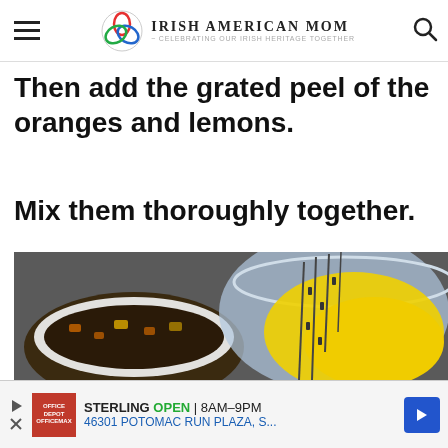Irish American Mom - Celebrating Our Irish Heritage Together
Then add the grated peel of the oranges and lemons.
Mix them thoroughly together.
[Figure (photo): Close-up photo of two bowls: one with dark fruit mixture with orange peel, and another glass bowl containing yellow butter mixture being mixed with a grater visible.]
STERLING OPEN 8AM–9PM 46301 POTOMAC RUN PLAZA, S...